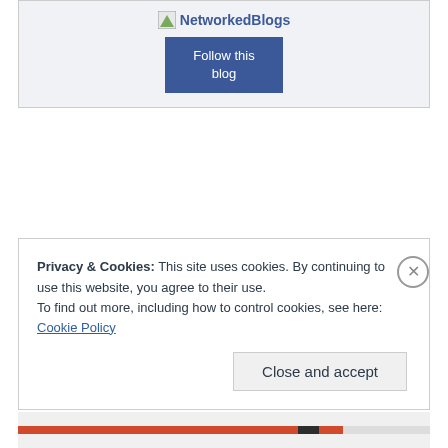[Figure (screenshot): NetworkedBlogs widget with logo and 'Follow this blog' button on a light grey background]
Privacy & Cookies: This site uses cookies. By continuing to use this website, you agree to their use.
To find out more, including how to control cookies, see here: Cookie Policy
Close and accept